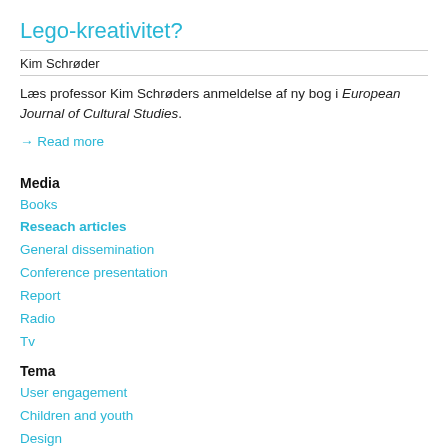Lego-kreativitet?
Kim Schrøder
Læs professor Kim Schrøders anmeldelse af ny bog i European Journal of Cultural Studies.
→ Read more
Media
Books
Reseach articles
General dissemination
Conference presentation
Report
Radio
Tv
Tema
User engagement
Children and youth
Design
Digital literacies